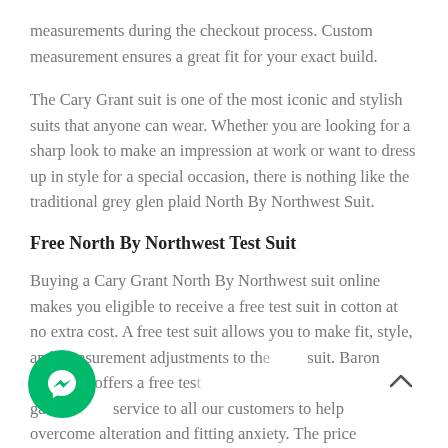measurements during the checkout process. Custom measurement ensures a great fit for your exact build.
The Cary Grant suit is one of the most iconic and stylish suits that anyone can wear. Whether you are looking for a sharp look to make an impression at work or want to dress up in style for a special occasion, there is nothing like the traditional grey glen plaid North By Northwest Suit.
Free North By Northwest Test Suit
Buying a Cary Grant North By Northwest suit online makes you eligible to receive a free test suit in cotton at no extra cost. A free test suit allows you to make fit, style, and measurement adjustments to the final suit. Baron Boutique offers a free test garment service to all our customers to help overcome alteration and fitting anxiety. The price